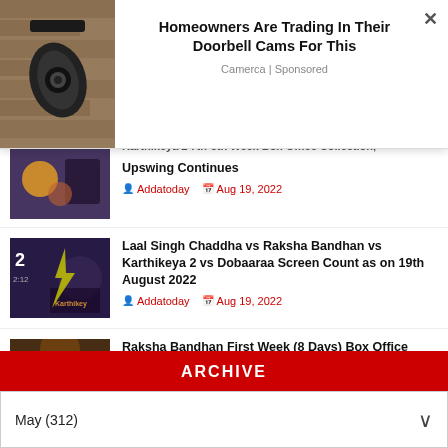[Figure (screenshot): Advertisement overlay showing a security camera on a wall, with title 'Homeowners Are Trading In Their Doorbell Cams For This', source 'Camerca | Sponsored']
Homeowners Are Trading In Their Doorbell Cams For This
Camerca | Sponsored
Karthikeya 2 7th-8th Week Box Office Collection, Upswing Continues — Addatoday, Aug 19, 2022
Laal Singh Chaddha vs Raksha Bandhan vs Karthikeya 2 vs Dobaaraa Screen Count as on 19th August 2022 — Addatoday, Aug 19, 2022
Raksha Bandhan First Week (8 Days) Box Office Collection, Akshay Kumar's Consistency is Unparalleled in 2022 — Addatoday, Aug 19, 2022
ARCHIVE
May (312)